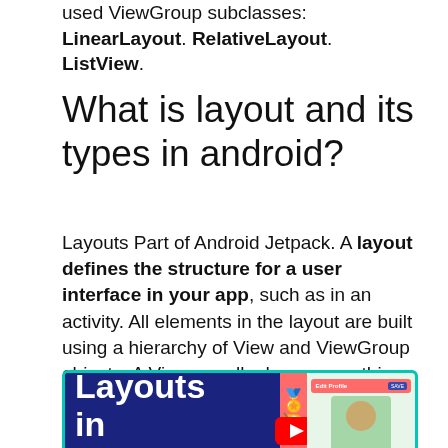used ViewGroup subclasses: LinearLayout. RelativeLayout. ListView.
What is layout and its types in android?
Layouts Part of Android Jetpack. A layout defines the structure for a user interface in your app, such as in an activity. All elements in the layout are built using a hierarchy of View and ViewGroup objects. A View usually draws something the user can see and interact with.
[Figure (illustration): Promotional image with dark blue background showing text 'Layouts in' on the left in white bold font, a phone with a coral/red screen showing emoji in the middle, and another phone showing an 'Edit Profile' screen with a person's photo on the right. There is a teal/turquoise border around the image and a YouTube play button icon at the bottom center.]